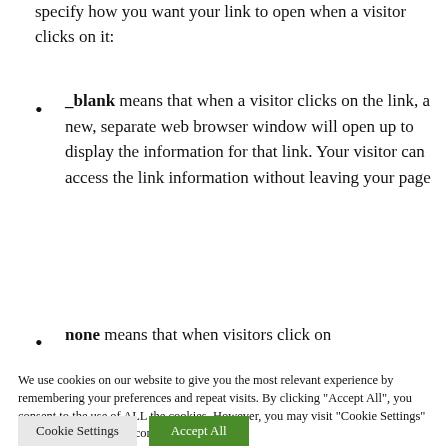specify how you want your link to open when a visitor clicks on it:
_blank means that when a visitor clicks on the link, a new, separate web browser window will open up to display the information for that link. Your visitor can access the link information without leaving your page
none means that when visitors click on
We use cookies on our website to give you the most relevant experience by remembering your preferences and repeat visits. By clicking "Accept All", you consent to the use of ALL the cookies. However, you may visit "Cookie Settings" to provide a controlled consent.